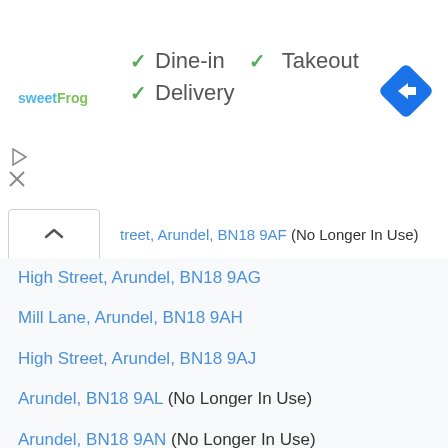[Figure (logo): sweetFrog logo in blue and green text]
✓ Dine-in  ✓ Takeout
✓ Delivery
[Figure (other): Blue diamond navigation/directions icon with right arrow]
...treet, Arundel, BN18 9AF (No Longer In Use)
High Street, Arundel, BN18 9AG
Mill Lane, Arundel, BN18 9AH
High Street, Arundel, BN18 9AJ
Arundel, BN18 9AL (No Longer In Use)
Arundel, BN18 9AN (No Longer In Use)
Maltravers Street, Arundel, BN18 9AP
Arundel, BN18 9AQ (No Longer In Use)
High Street, Arundel, BN18 9AR
London Road, Arundel, BN18 9AS
London Road, Arundel, BN18 9AT
London Road, Arundel, BN18 9AU